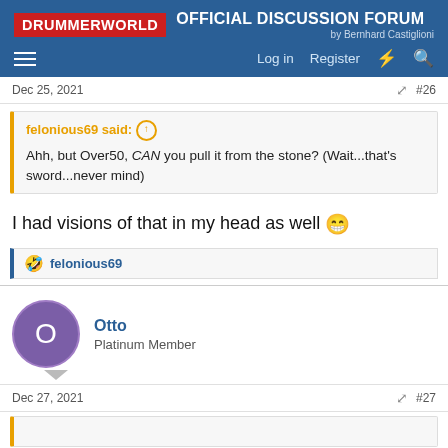DRUMMERWORLD OFFICIAL DISCUSSION FORUM by Bernhard Castiglioni
Dec 25, 2021  #26
felonious69 said: Ahh, but Over50, CAN you pull it from the stone? (Wait...that's sword...never mind)
I had visions of that in my head as well 😁
🤣 felonious69
Otto  Platinum Member
Dec 27, 2021  #27